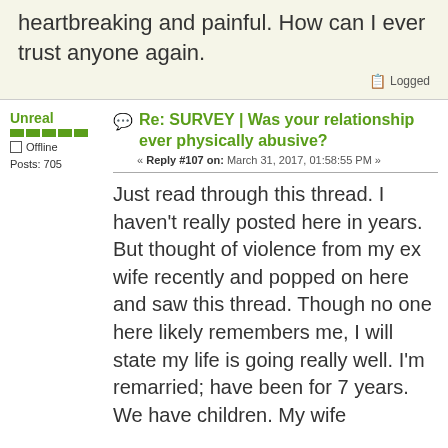heartbreaking and painful. How can I ever trust anyone again.
Logged
Unreal
Offline
Posts: 705
Re: SURVEY | Was your relationship ever physically abusive?
« Reply #107 on: March 31, 2017, 01:58:55 PM »
Just read through this thread. I haven't really posted here in years. But thought of violence from my ex wife recently and popped on here and saw this thread. Though no one here likely remembers me, I will state my life is going really well. I'm remarried; have been for 7 years. We have children. My wife